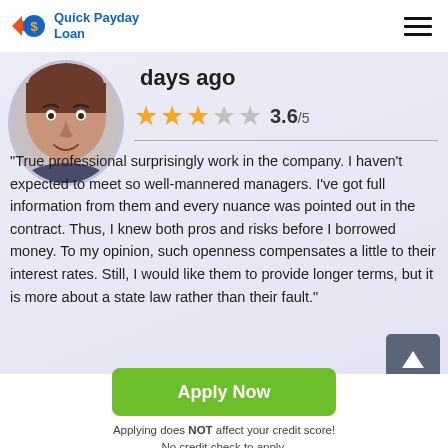Quick Payday Loan
days ago
3.6/5
"True professional surprisingly work in the company. I haven't expected to meet so well-mannered managers. I've got full information from them and every nuance was pointed out in the contract. Thus, I knew both pros and risks before I borrowed money. To my opinion, such openness compensates a little to their interest rates. Still, I would like them to provide longer terms, but it is more about a state law rather than their fault."
Apply Now
Applying does NOT affect your credit score!
No credit check to apply.